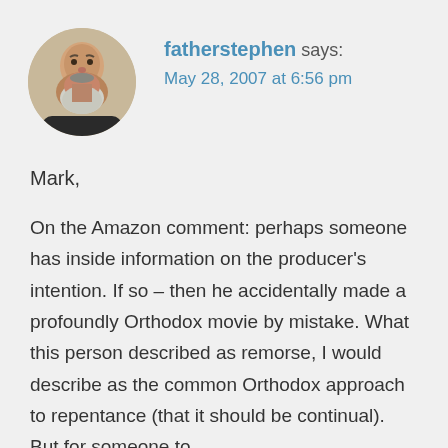[Figure (photo): Circular avatar photo of a bearded man with grey beard, wearing dark clothing, against a warm background]
fatherstephen says:
May 28, 2007 at 6:56 pm
Mark,
On the Amazon comment: perhaps someone has inside information on the producer's intention. If so – then he accidentally made a profoundly Orthodox movie by mistake. What this person described as remorse, I would describe as the common Orthodox approach to repentance (that it should be continual). But for someone to